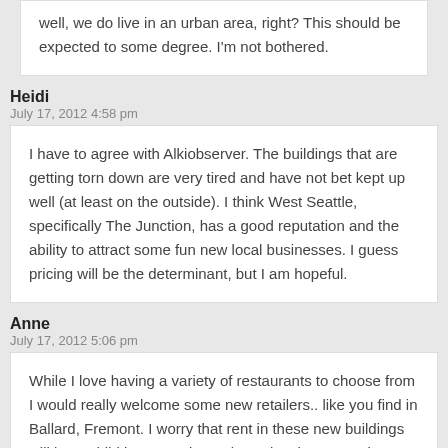well, we do live in an urban area, right? This should be expected to some degree. I'm not bothered.
Heidi
July 17, 2012 4:58 pm
I have to agree with Alkiobserver. The buildings that are getting torn down are very tired and have not bet kept up well (at least on the outside). I think West Seattle, specifically The Junction, has a good reputation and the ability to attract some fun new local businesses. I guess pricing will be the determinant, but I am hopeful.
Anne
July 17, 2012 5:06 pm
While I love having a variety of restaurants to choose from I would really welcome some new retailers.. like you find in Ballard, Fremont. I worry that rent in these new buildings will be prohibitive. You always hear developers touting these buildings as having retail space .. But then rent is too high to attract the fun businesses to the community!